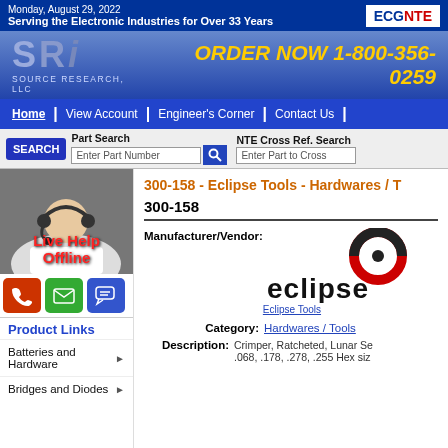Monday, August 29, 2022
Serving the Electronic Industries for Over 33 Years | ECG NTE
[Figure (logo): SRI Source Research LLC logo with ORDER NOW 1-800-356-0259]
Home | View Account | Engineer's Corner | Contact Us
SEARCH | Part Search | Enter Part Number | NTE Cross Ref. Search | Enter Part to Cross
300-158 - Eclipse Tools - Hardwares / T
300-158
Manufacturer/Vendor:
[Figure (logo): Eclipse Tools logo - circular red/black ring with dot, ECLIPSE text]
Eclipse Tools
Category: Hardwares / Tools
Description: Crimper, Ratcheted, Lunar Se .068, .178, .278, .255 Hex siz
Product Links
Batteries and Hardware
Bridges and Diodes